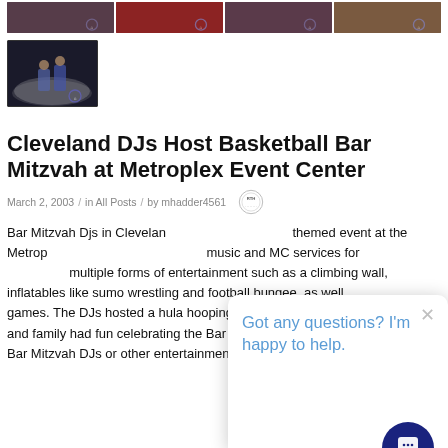[Figure (photo): Row of four thumbnail photos of event/party scenes]
[Figure (photo): Single larger thumbnail photo of people at an event with fog/smoke effect]
Cleveland DJs Host Basketball Bar Mitzvah at Metroplex Event Center
March 2, 2003 / in All Posts / by mhadder4561
Bar Mitzvah Djs in Cleveland... themed event at the Metroplex... music and MC services for... multiple forms of entertainment such as a climbing wall, inflatables like sumo wrestling and football bungee, as well as games. The DJs hosted a hula hooping contest among guests too. Friends and family had fun celebrating the Bar Mitzvah... more information on Bar Mitzvah DJs or other entertainment